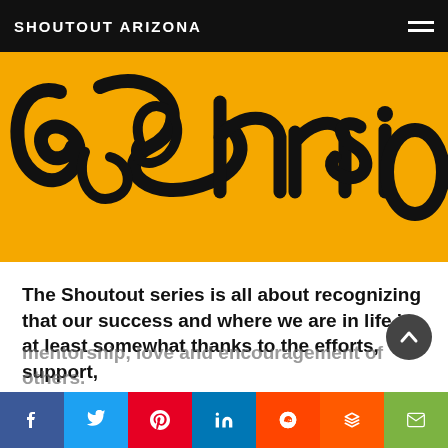SHOUTOUT ARIZONA
[Figure (illustration): Yellow background with stylized black calligraphic/graffiti-style lettering forming a logo or brand name on a golden yellow background]
The Shoutout series is all about recognizing that our success and where we are in life is at least somewhat thanks to the efforts, support, mentorship, love and encouragement of others. So is there someone that you want to shoutout?